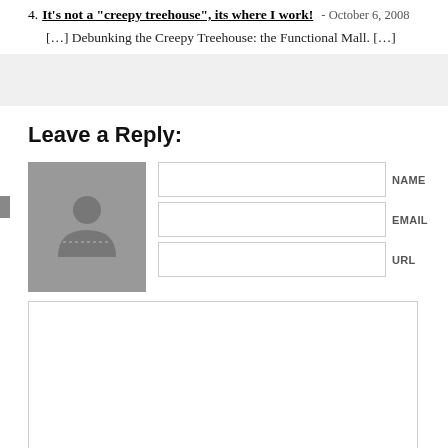4. It's not a "creepy treehouse", its where I work! - October 6, 2008
[…] Debunking the Creepy Treehouse: the Functional Mall. […]
Leave a Reply:
[Figure (illustration): Default avatar placeholder: gray square with a person silhouette icon]
NAME
EMAIL
URL